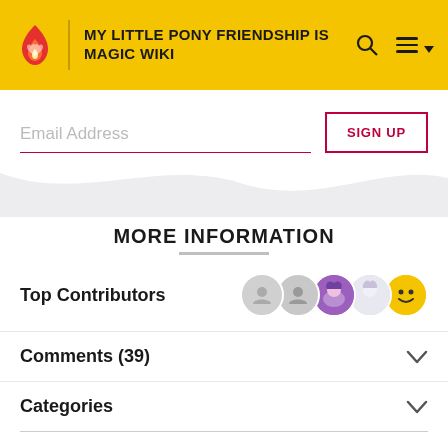MY LITTLE PONY FRIENDSHIP IS MAGIC WIKI
Email Address
SIGN UP
MORE INFORMATION
Top Contributors
Comments (39)
Categories
Other Languages:
Community content is available under CC BY SA unless